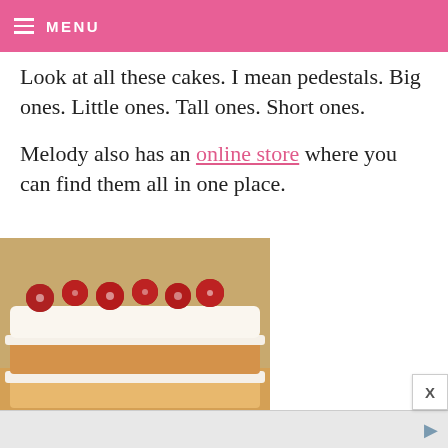MENU
Look at all these cakes. I mean pedestals. Big ones. Little ones. Tall ones. Short ones.
Melody also has an online store where you can find them all in one place.
[Figure (photo): Close-up photo of a layered cake topped with sugared cranberries and white cream frosting, shown on a light background.]